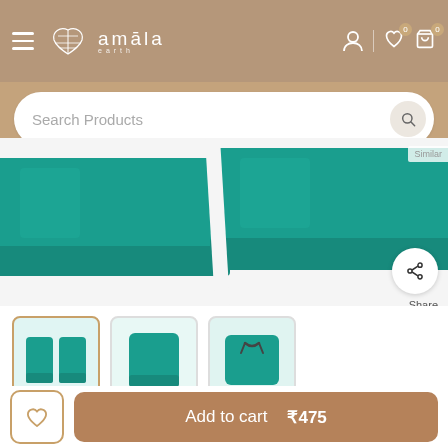amala earth — navigation header with hamburger menu, logo, search, user, wishlist, cart icons
Search Products
[Figure (photo): Teal corduroy shorts close-up showing hem/cuff detail on white background]
[Figure (photo): Three thumbnail images of Cotton Teal Corduroy Shorts for Boys: front view (selected), side view, back with drawstring]
Cotton Teal Corduroy Shorts for Boys
Popsicles  |  SKU: PB201_2
Add to cart  ₹475